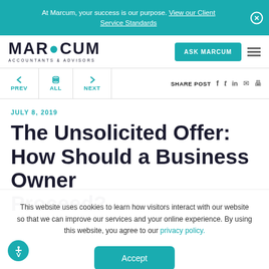At Marcum, your success is our purpose. View our Client Service Standards
[Figure (logo): Marcum Accountants & Advisors logo]
PREV  ALL  NEXT  SHARE POST
JULY 8, 2019
The Unsolicited Offer: How Should a Business Owner Proceed?
This website uses cookies to learn how visitors interact with our website so that we can improve our services and your online experience. By using this website, you agree to our privacy policy.
Accept